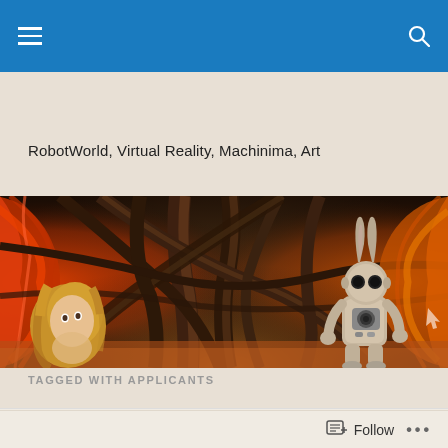RobotWorld, Virtual Reality, Machinima, Art
[Figure (illustration): 3D rendered scene showing a virtual world interior with twisted wooden/organic structural beams forming a dome-like enclosure. Orange/red glowing walls visible on the left. A cartoon-like grey humanoid robot character with large eyes stands on the right holding a camera. A female avatar character with blonde hair is partially visible in the lower left. Background shows trees and warm amber lighting.]
TAGGED WITH APPLICANTS
A ROLIGHT DOCUMENT...
Follow ...